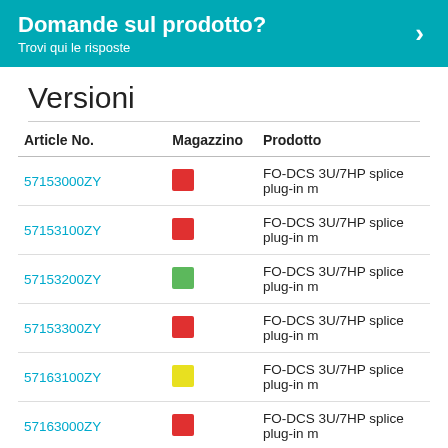Domande sul prodotto? Trovi qui le risposte
Versioni
| Article No. | Magazzino | Prodotto |
| --- | --- | --- |
| 57153000ZY | [red] | FO-DCS 3U/7HP splice plug-in m |
| 57153100ZY | [red] | FO-DCS 3U/7HP splice plug-in m |
| 57153200ZY | [green] | FO-DCS 3U/7HP splice plug-in m |
| 57153300ZY | [red] | FO-DCS 3U/7HP splice plug-in m |
| 57163100ZY | [yellow] | FO-DCS 3U/7HP splice plug-in m |
| 57163000ZY | [red] | FO-DCS 3U/7HP splice plug-in m |